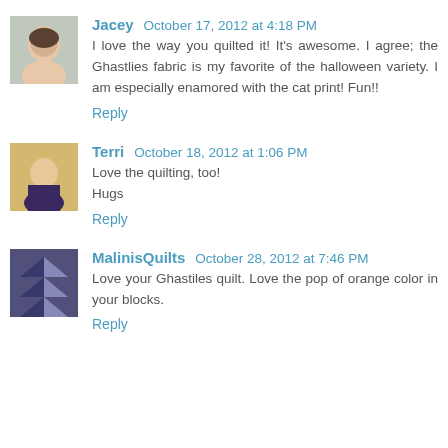Jacey  October 17, 2012 at 4:18 PM
I love the way you quilted it! It's awesome. I agree; the Ghastlies fabric is my favorite of the halloween variety. I am especially enamored with the cat print! Fun!!
Reply
Terri  October 18, 2012 at 1:06 PM
Love the quilting, too!
Hugs
Reply
MalinisQuilts  October 28, 2012 at 7:46 PM
Love your Ghastiles quilt. Love the pop of orange color in your blocks.
Reply